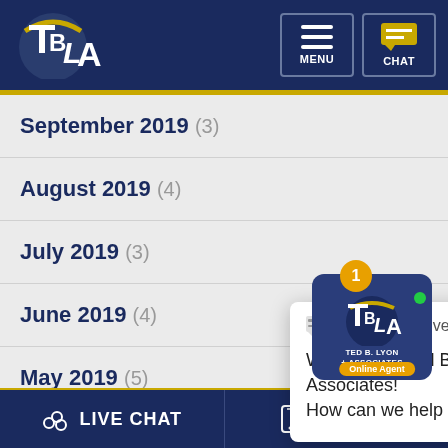[Figure (screenshot): Website header with TBLA logo on left and MENU and CHAT navigation buttons on right, dark navy background]
September 2019 (3)
August 2019 (4)
July 2019 (3)
June 2019 (4)
May 2019 (5)
April 2019 (2)
March 2019 (5)
[Figure (screenshot): Live chat popup with Representative icon, close X button, message: Welcome to Ted B. Lyon & Associates! How can we help you?]
[Figure (logo): Ted B. Lyon & Associates chat widget with badge showing 1 unread, TBLA logo, and Online Agent label]
LIVE CHAT   TEXT US